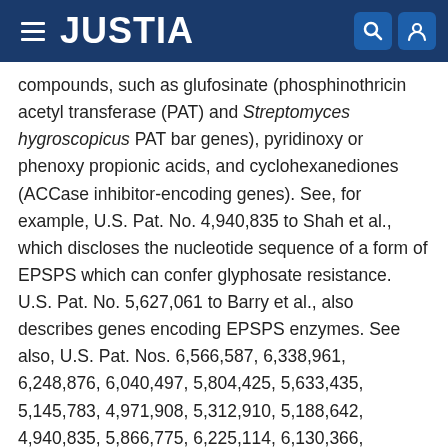JUSTIA
compounds, such as glufosinate (phosphinothricin acetyl transferase (PAT) and Streptomyces hygroscopicus PAT bar genes), pyridinoxy or phenoxy propionic acids, and cyclohexanediones (ACCase inhibitor-encoding genes). See, for example, U.S. Pat. No. 4,940,835 to Shah et al., which discloses the nucleotide sequence of a form of EPSPS which can confer glyphosate resistance. U.S. Pat. No. 5,627,061 to Barry et al., also describes genes encoding EPSPS enzymes. See also, U.S. Pat. Nos. 6,566,587, 6,338,961, 6,248,876, 6,040,497, 5,804,425, 5,633,435, 5,145,783, 4,971,908, 5,312,910, 5,188,642, 4,940,835, 5,866,775, 6,225,114, 6,130,366, 5,310,667, 4,535,060, 4,769,061, 5,633,448, 5,510,471, RE 36,449, RE 37,287, and 5,491,288; and International Publications EP1173580, WO 01/66704, EP1173581, and EP1173582, which are incorporated herein by reference for this purpose. Glyphosate resistance is also imparted to